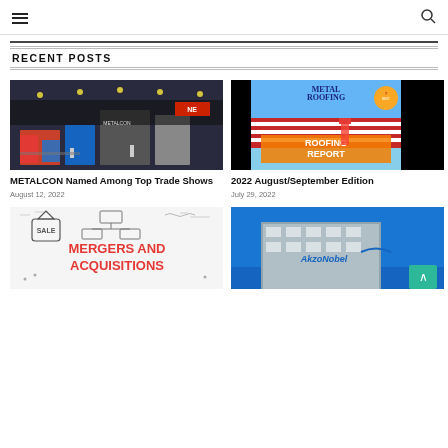Navigation header with hamburger menu and search icon
RECENT POSTS
[Figure (photo): Trade show floor with booths and exhibitors, indoor convention center]
METALCON Named Among Top Trade Shows
August 12, 2022
[Figure (photo): Metal Roofing magazine cover - 2022 August/September Edition showing Roofing Report]
2022 August/September Edition
July 29, 2022
[Figure (illustration): Mergers and Acquisitions graphic with sale tag and flowchart icons, red text]
[Figure (photo): AkzoNobel building exterior with logo and blue sky]